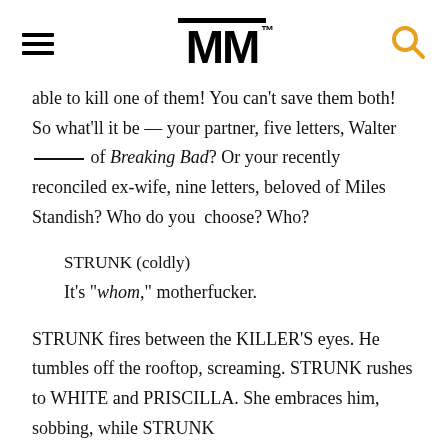MM
able to kill one of them!  You can't save them both!  So what'll it be — your partner, five letters, Walter _____ of Breaking Bad?  Or your recently reconciled ex-wife, nine letters, beloved of Miles Standish? Who do you  choose? Who?
STRUNK (coldly)
It's "whom," motherfucker.
STRUNK fires between the KILLER'S eyes. He tumbles off the rooftop, screaming. STRUNK rushes to WHITE and PRISCILLA. She embraces him, sobbing, while STRUNK